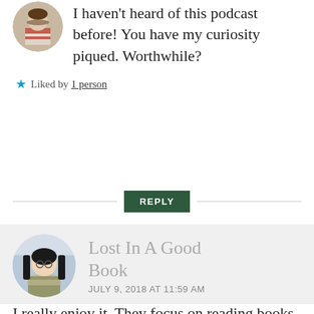[Figure (photo): Circular avatar of a person in a red striped shirt, partially cropped at top]
I haven't heard of this podcast before! You have my curiosity piqued. Worthwhile?
★ Liked by 1 person
REPLY
[Figure (photo): Circular avatar of an anime-style character with black hair and glasses, wearing a light jacket]
Lost In A Good Book
JULY 9, 2018 AT 11:59 AM
I really enjoy it. They focus on reading books written by women. They've had some